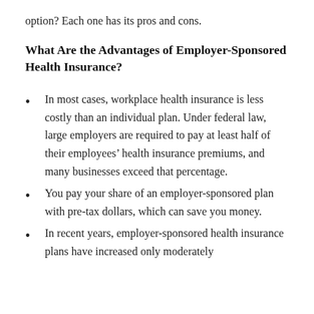option? Each one has its pros and cons.
What Are the Advantages of Employer-Sponsored Health Insurance?
In most cases, workplace health insurance is less costly than an individual plan. Under federal law, large employers are required to pay at least half of their employees' health insurance premiums, and many businesses exceed that percentage.
You pay your share of an employer-sponsored plan with pre-tax dollars, which can save you money.
In recent years, employer-sponsored health insurance plans have increased only moderately